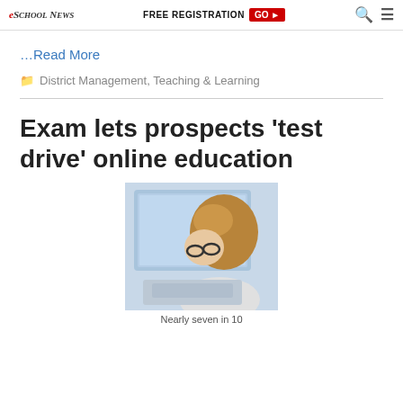eSchool News — FREE REGISTRATION GO ▶
…Read More
District Management, Teaching & Learning
Exam lets prospects 'test drive' online education
[Figure (photo): A student with glasses looking at a laptop screen from above]
Nearly seven in 10